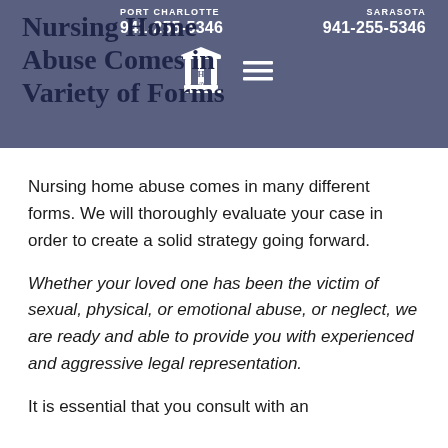PORT CHARLOTTE 941-255-5346   SARASOTA 941-255-5346
Nursing Home Abuse Comes in Variety of Forms
[Figure (logo): Law firm logo with columns and initials HLaw, with hamburger menu icon]
Nursing home abuse comes in many different forms. We will thoroughly evaluate your case in order to create a solid strategy going forward.
Whether your loved one has been the victim of sexual, physical, or emotional abuse, or neglect, we are ready and able to provide you with experienced and aggressive legal representation.
It is essential that you consult with an